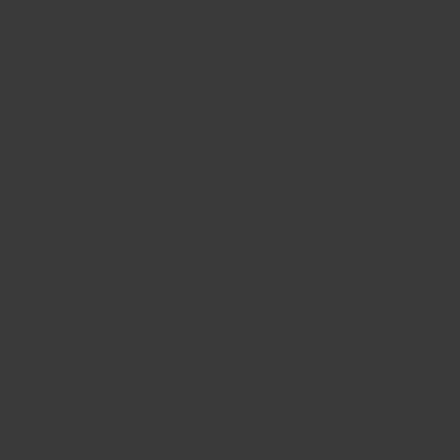[Figure (screenshot): Black thumbnail card with title 'David, Darko and Peto Coast', Duration 19:30, Added 2014-10-22]
[Figure (screenshot): Black thumbnail card with title 'Hot gay sex Joey Perelli is left...', Duration ???, Added 2014-12-11]
[Figure (screenshot): Black thumbnail card, partially visible at bottom]